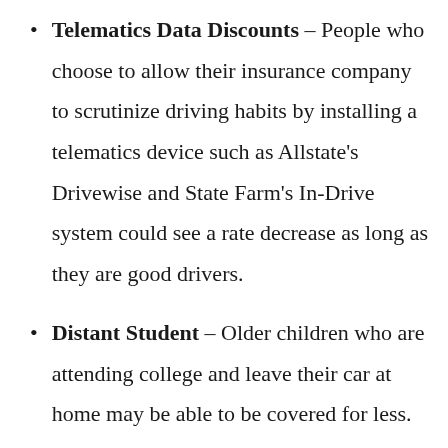Telematics Data Discounts – People who choose to allow their insurance company to scrutinize driving habits by installing a telematics device such as Allstate's Drivewise and State Farm's In-Drive system could see a rate decrease as long as they are good drivers.
Distant Student – Older children who are attending college and leave their car at home may be able to be covered for less.